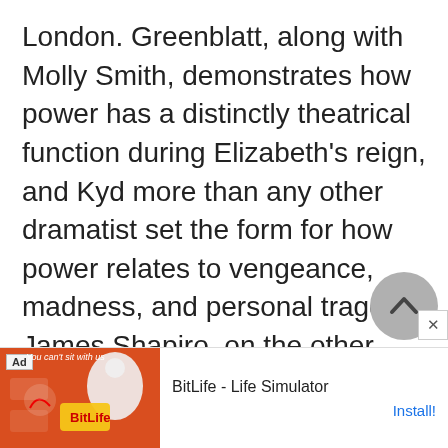London. Greenblatt, along with Molly Smith, demonstrates how power has a distinctly theatrical function during Elizabeth's reign, and Kyd more than any other dramatist set the form for how power relates to vengeance, madness, and personal tragedy. James Shapiro, on the other hand, points out how The Spanish Tragedy can also be used to challenge many of those assumed relationships.
[Figure (other): Gray circular scroll-to-top button with upward chevron icon]
[Figure (other): Advertisement banner for BitLife - Life Simulator mobile game with red background image and Ad label]